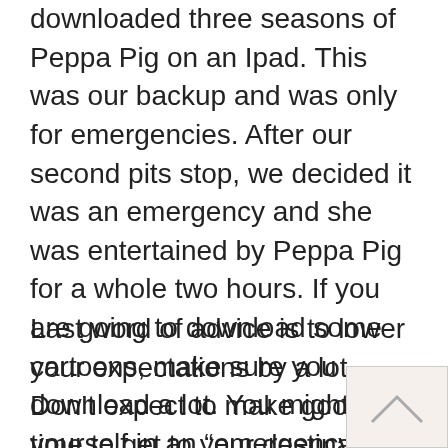downloaded three seasons of Peppa Pig on an Ipad. This was our backup and was only for emergencies. After our second pits stop, we decided it was an emergency and she was entertained by Peppa Pig for a whole two hours. If you are going to download some cartoons, make sure you download a lot. You might find yourself in an “emergency” situation as well.
Last word of advice is to lower your expectations by a lot. Don’t expect to make good time to get to your destination. It won’t happen. If it normally takes you seven hours to do a drive, it will take at least 10 if you are quick with rest stops and